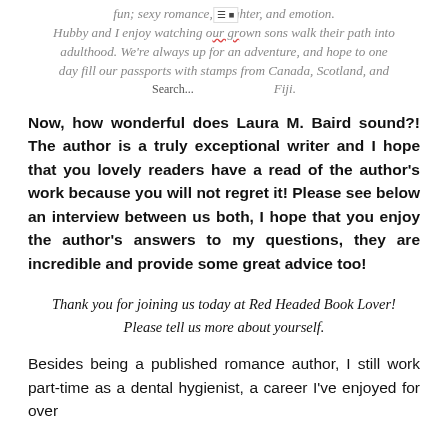fun; sexy romance, laughter, and emotion. Hubby and I enjoy watching our grown sons walk their path into adulthood. We're always up for an adventure, and hope to one day fill our passports with stamps from Canada, Scotland, and Fiji.
Now, how wonderful does Laura M. Baird sound?! The author is a truly exceptional writer and I hope that you lovely readers have a read of the author's work because you will not regret it! Please see below an interview between us both, I hope that you enjoy the author's answers to my questions, they are incredible and provide some great advice too!
Thank you for joining us today at Red Headed Book Lover! Please tell us more about yourself.
Besides being a published romance author, I still work part-time as a dental hygienist, a career I've enjoyed for over